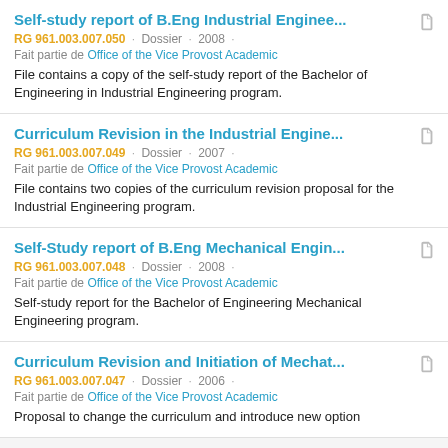Self-study report of B.Eng Industrial Enginee...
RG 961.003.007.050 · Dossier · 2008 ·
Fait partie de Office of the Vice Provost Academic
File contains a copy of the self-study report of the Bachelor of Engineering in Industrial Engineering program.
Curriculum Revision in the Industrial Engine...
RG 961.003.007.049 · Dossier · 2007 ·
Fait partie de Office of the Vice Provost Academic
File contains two copies of the curriculum revision proposal for the Industrial Engineering program.
Self-Study report of B.Eng Mechanical Engin...
RG 961.003.007.048 · Dossier · 2008 ·
Fait partie de Office of the Vice Provost Academic
Self-study report for the Bachelor of Engineering Mechanical Engineering program.
Curriculum Revision and Initiation of Mechat...
RG 961.003.007.047 · Dossier · 2006 ·
Fait partie de Office of the Vice Provost Academic
Proposal to change the curriculum and introduce new option